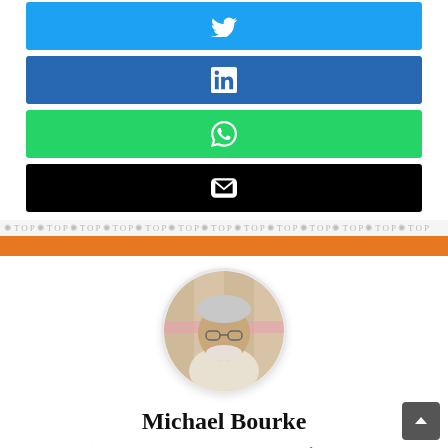[Figure (infographic): Twitter share button (blue background with bird icon)]
[Figure (infographic): LinkedIn share button (blue background with 'in' icon)]
[Figure (infographic): WhatsApp share button (green background with phone icon)]
[Figure (infographic): Email share button (black background with envelope icon)]
[Figure (infographic): Decorative wavy divider and orange bar separator]
[Figure (photo): Circular profile photo of Michael Bourke, an older man with glasses and white beard]
Michael Bourke
R.M. (Mike) Bourke is an Honorary Associate Professor in the College of Asia and the Pacific at the Austral